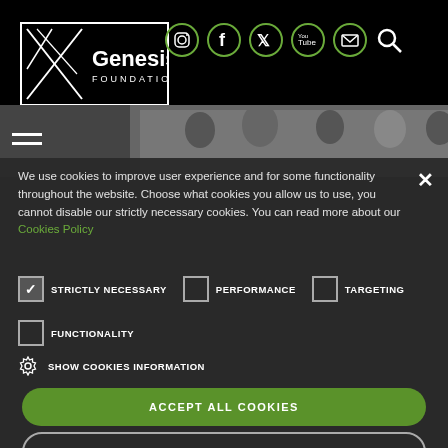[Figure (logo): Genesis Foundation logo with X graphic on black background with white border]
[Figure (screenshot): Social media icons: Instagram, Facebook, Twitter, YouTube, Email, Search on black background]
[Figure (photo): Photo strip showing group of young people]
We use cookies to improve user experience and for some functionality throughout the website. Choose what cookies you allow us to use, you cannot disable our strictly necessary cookies. You can read more about our Cookies Policy
STRICTLY NECESSARY (checked), PERFORMANCE (unchecked), TARGETING (unchecked)
FUNCTIONALITY (unchecked)
SHOW COOKIES INFORMATION
ACCEPT ALL COOKIES
ACCEPT STRICTLY NECESSARY COOKIES